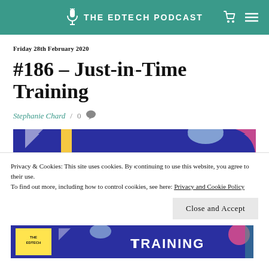THE EDTECH PODCAST
Friday 28th February 2020
#186 – Just-in-Time Training
Stephanie Chard / 0
[Figure (photo): Colorful abstract banner image with geometric shapes on dark blue background]
Privacy & Cookies: This site uses cookies. By continuing to use this website, you agree to their use.
To find out more, including how to control cookies, see here: Privacy and Cookie Policy
Close and Accept
[Figure (photo): Bottom portion of a colorful banner showing 'THE EDTECH' logo on yellow background and 'TRAINING' text in white on dark blue background]